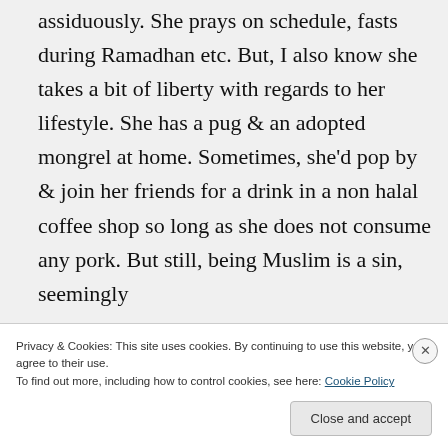assiduously. She prays on schedule, fasts during Ramadhan etc. But, I also know she takes a bit of liberty with regards to her lifestyle. She has a pug & an adopted mongrel at home. Sometimes, she'd pop by & join her friends for a drink in a non halal coffee shop so long as she does not consume any pork. But still, being Muslim is a sin, seemingly
Privacy & Cookies: This site uses cookies. By continuing to use this website, you agree to their use.
To find out more, including how to control cookies, see here: Cookie Policy